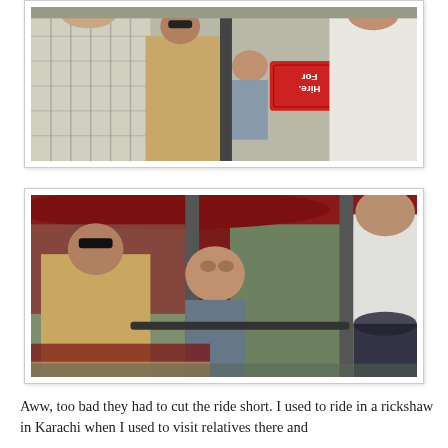[Figure (photo): A group of people riding in a rickshaw/auto-rickshaw viewed from the side. A man in a plaid shirt is visible on the left, a woman in a tan coat and a child in the middle, and a man in a white shirt on the right. A red 'For Hire' sign is visible on the vehicle, displayed upside-down.]
[Figure (photo): Close-up view inside a dark red auto-rickshaw. A woman in a tan/beige coat leans over a young Asian child, and a man in a white shirt sits on the right side. The vehicle's maroon body and metal frame are prominent.]
Aww, too bad they had to cut the ride short. I used to ride in a rickshaw in Karachi when I used to visit relatives there and